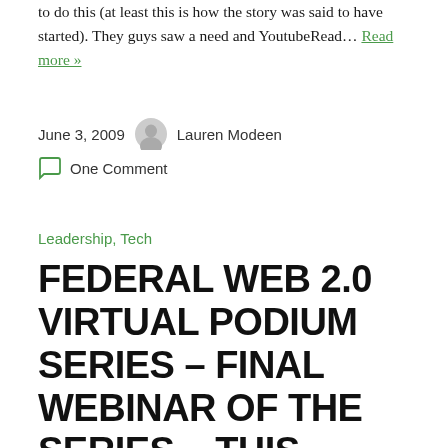to do this (at least this is how the story was said to have started). They guys saw a need and YoutubeRead… Read more »
June 3, 2009   Lauren Modeen
One Comment
Leadership, Tech
FEDERAL WEB 2.0 VIRTUAL PODIUM SERIES – FINAL WEBINAR OF THE SERIES – THIS WEDNESDAY @1PM EDT!